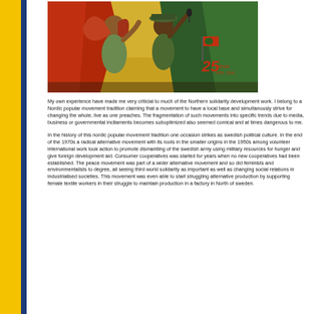[Figure (illustration): A colorful painting of two figures in a protest/solidarity scene with red and green tones, a red flag, and text '25 anos' marking an anniversary.]
My own experience have made me very criticial to much of the Northern solida development work. I belong to a Nordic popular movement tradition claiming th a movement to have a local base and simultanously strive for changing the wh live as one preaches. The fragmentation of such movements into specific trend due to media, business or governmental incitaments becomes suboptimized al seemed comical and at times dangerous to me.
In the history of this nordic popular movement tradition one occasion strikes a swedish political culture. In the end of the 1970s a radical alternative movemen its roots in the smaller origins in the 1950s among volunteer international work action to promote dismantling of the swedish army using military resources for hunger and give foreign development aid. Consumer cooperatives was started years when no new cooperatives had been established. The peace movement part of a wider alternative movement and so did feminists and environmentalist degree, all seeing third world solidarity as important as well as changing social relations in industrialised societies. This movement was even able to start stru alternative production by supporting female textile workers in their struggle to production in a factory in North of sweden.